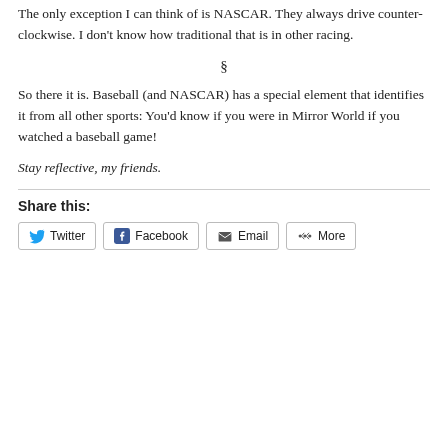The only exception I can think of is NASCAR. They always drive counter-clockwise. I don't know how traditional that is in other racing.
§
So there it is. Baseball (and NASCAR) has a special element that identifies it from all other sports: You'd know if you were in Mirror World if you watched a baseball game!
Stay reflective, my friends.
Share this:
Twitter   Facebook   Email   More